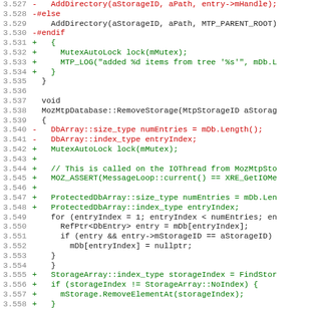[Figure (screenshot): A code diff view showing lines 3.527 to 3.558 of a C++ source file (MozMtpDatabase). Lines in red are removals (prefixed with -), lines in green are additions (prefixed with +), and lines in black/gray are context lines. The code relates to AddDirectory, RemoveStorage, MutexAutoLock, ProtectedDbArray, and StorageArray operations.]